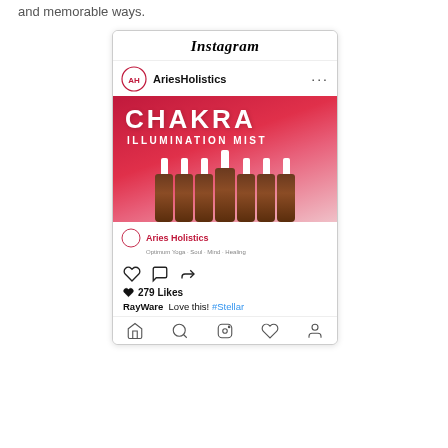and memorable ways.
[Figure (screenshot): Instagram post screenshot showing AriesHolistics account with a product image of Chakra Illumination Mist bottles on a red/pink background. Post has 279 Likes and a comment from RayWare: 'Love this! #Stellar']